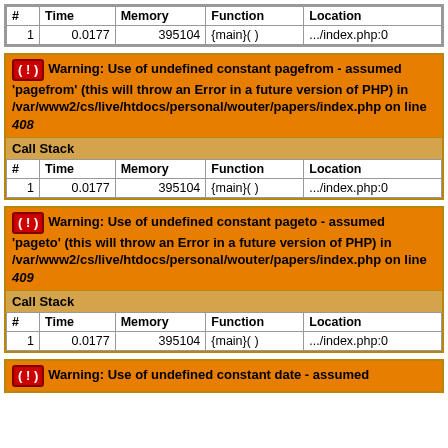| # | Time | Memory | Function | Location |
| --- | --- | --- | --- | --- |
| 1 | 0.0177 | 395104 | {main}( ) | .../index.php:0 |
Warning: Use of undefined constant pagefrom - assumed 'pagefrom' (this will throw an Error in a future version of PHP) in /var/www2/cs/live/htdocs/personal/wouter/papers/index.php on line 408
| # | Time | Memory | Function | Location |
| --- | --- | --- | --- | --- |
| 1 | 0.0177 | 395104 | {main}( ) | .../index.php:0 |
Warning: Use of undefined constant pageto - assumed 'pageto' (this will throw an Error in a future version of PHP) in /var/www2/cs/live/htdocs/personal/wouter/papers/index.php on line 409
| # | Time | Memory | Function | Location |
| --- | --- | --- | --- | --- |
| 1 | 0.0177 | 395104 | {main}( ) | .../index.php:0 |
Warning: Use of undefined constant date - assumed